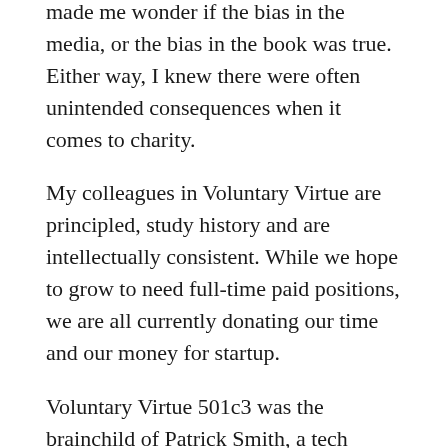made me wonder if the bias in the media, or the bias in the book was true. Either way, I knew there were often unintended consequences when it comes to charity.
My colleagues in Voluntary Virtue are principled, study history and are intellectually consistent. While we hope to grow to need full-time paid positions, we are all currently donating our time and our money for startup.
Voluntary Virtue 501c3 was the brainchild of Patrick Smith, a tech mogul from Texas whose family experienced hard times over the last years. His young daughter was diagnosed and treated for leukemia, and through this experience he learned about and volunteered with Make a Wish Foundation. Fortunately, Patricks daughter’s treatment was a success and she got to ring the “all clear” bell recently.
This experience, and the $1.5 million dollar price tag that